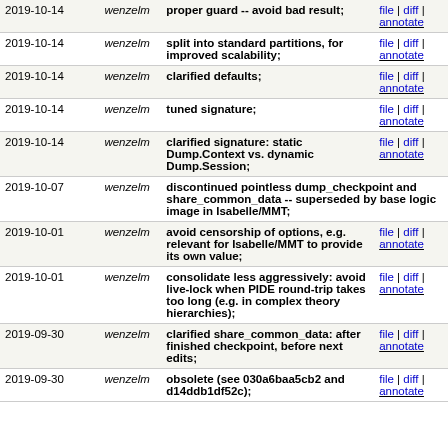| Date | Author | Description | Links |
| --- | --- | --- | --- |
| 2019-10-14 | wenzelm | proper guard -- avoid bad result; | file | diff | annotate |
| 2019-10-14 | wenzelm | split into standard partitions, for improved scalability; | file | diff | annotate |
| 2019-10-14 | wenzelm | clarified defaults; | file | diff | annotate |
| 2019-10-14 | wenzelm | tuned signature; | file | diff | annotate |
| 2019-10-14 | wenzelm | clarified signature: static Dump.Context vs. dynamic Dump.Session; | file | diff | annotate |
| 2019-10-07 | wenzelm | discontinued pointless dump_checkpoint and share_common_data -- superseded by base logic image in Isabelle/MMT; |  |
| 2019-10-01 | wenzelm | avoid censorship of options, e.g. relevant for Isabelle/MMT to provide its own value; | file | diff | annotate |
| 2019-10-01 | wenzelm | consolidate less aggressively: avoid live-lock when PIDE round-trip takes too long (e.g. in complex theory hierarchies); | file | diff | annotate |
| 2019-09-30 | wenzelm | clarified share_common_data: after finished checkpoint, before next edits; | file | diff | annotate |
| 2019-09-30 | wenzelm | obsolete (see 030a6baa5cb2 and d14ddb1df52c); | file | diff | annotate |